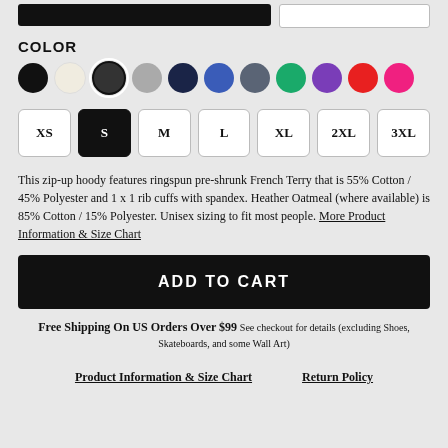COLOR
[Figure (other): Color swatches: black, cream/white, dark charcoal (selected with ring), gray, navy, blue, slate, green, purple, red, pink]
Size options: XS, S (selected/black), M, L, XL, 2XL, 3XL
This zip-up hoody features ringspun pre-shrunk French Terry that is 55% Cotton / 45% Polyester and 1 x 1 rib cuffs with spandex. Heather Oatmeal (where available) is 85% Cotton / 15% Polyester. Unisex sizing to fit most people. More Product Information & Size Chart
ADD TO CART
Free Shipping On US Orders Over $99 See checkout for details (excluding Shoes, Skateboards, and some Wall Art)
Product Information & Size Chart    Return Policy